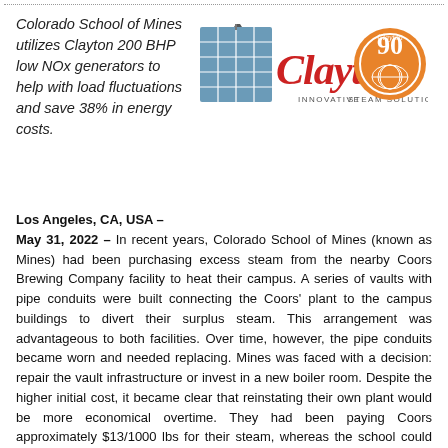Colorado School of Mines utilizes Clayton 200 BHP low NOx generators to help with load fluctuations and save 38% in energy costs.
[Figure (logo): Clayton Industries logo with 'Clayton INNOVATIVE STEAM SOLUTIONS' text and a 90th anniversary circular badge.]
Los Angeles, CA, USA – May 31, 2022 – In recent years, Colorado School of Mines (known as Mines) had been purchasing excess steam from the nearby Coors Brewing Company facility to heat their campus. A series of vaults with pipe conduits were built connecting the Coors' plant to the campus buildings to divert their surplus steam. This arrangement was advantageous to both facilities. Over time, however, the pipe conduits became worn and needed replacing. Mines was faced with a decision: repair the vault infrastructure or invest in a new boiler room. Despite the higher initial cost, it became clear that reinstating their own plant would be more economical overtime. They had been paying Coors approximately $13/1000 lbs for their steam, whereas the school could produce steam for $7/1000 lbs by installing two steam generators from Clayton Industries, thus realizing a savings of 38% on their annual energy costs.